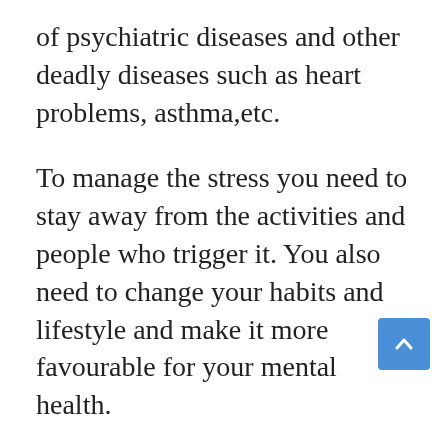of psychiatric diseases and other deadly diseases such as heart problems, asthma,etc.
To manage the stress you need to stay away from the activities and people who trigger it. You also need to change your habits and lifestyle and make it more favourable for your mental health.
Taking balanced diet, having proper sleep, indulging in playful events etc will help to minimize the stress on daily level.
If the problem still persists and grows reach